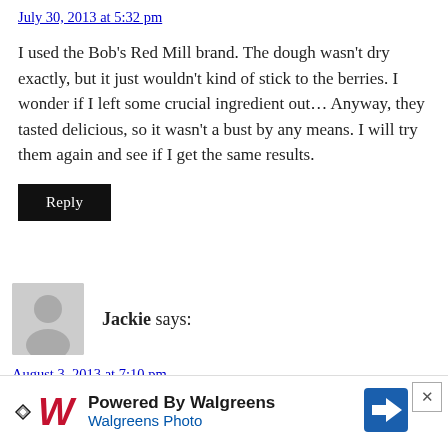July 30, 2013 at 5:32 pm
I used the Bob's Red Mill brand. The dough wasn't dry exactly, but it just wouldn't kind of stick to the berries. I wonder if I left some crucial ingredient out… Anyway, they tasted delicious, so it wasn't a bust by any means. I will try them again and see if I get the same results.
Reply
Jackie says:
August 3, 2013 at 7:10 pm
I love reading your blog and you always have great recipes.
[Figure (infographic): Walgreens advertisement banner: 'Powered By Walgreens / Walgreens Photo' with Walgreens W logo and blue direction sign icon. Has an X close button.]